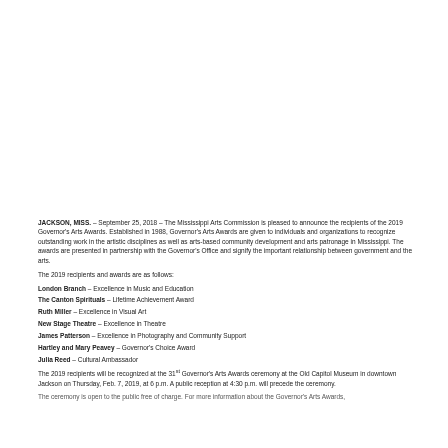JACKSON, MISS. – September 25, 2018 – The Mississippi Arts Commission is pleased to announce the recipients of the 2019 Governor's Arts Awards. Established in 1988, Governor's Arts Awards are given to individuals and organizations to recognize outstanding work in the artistic disciplines as well as arts-based community development and arts patronage in Mississippi. The awards are presented in partnership with the Governor's Office and signify the important relationship between government and the arts.
The 2019 recipients and awards are as follows:
London Branch – Excellence in Music and Education
The Canton Spirituals – Lifetime Achievement Award
Ruth Miller – Excellence in Visual Art
New Stage Theatre – Excellence in Theatre
James Patterson – Excellence in Photography and Community Support
Hartley and Mary Peavey – Governor's Choice Award
Julia Reed – Cultural Ambassador
The 2019 recipients will be recognized at the 31st Governor's Arts Awards ceremony at the Old Capitol Museum in downtown Jackson on Thursday, Feb. 7, 2019, at 6 p.m. A public reception at 4:30 p.m. will precede the ceremony.
(partial line cut off)